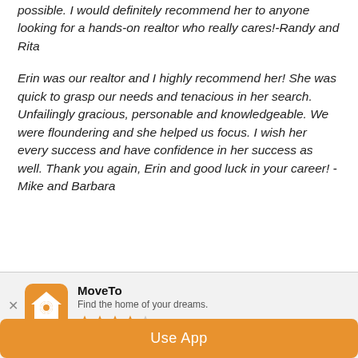possible. I would definitely recommend her to anyone looking for a hands-on realtor who really cares!-Randy and Rita
Erin was our realtor and I highly recommend her! She was quick to grasp our needs and tenacious in her search. Unfailingly gracious, personable and knowledgeable. We were floundering and she helped us focus. I wish her every success and have confidence in her success as well. Thank you again, Erin and good luck in your career! -Mike and Barbara
[Figure (logo): MoveTo app icon — orange house with magnifying glass]
MoveTo
Find the home of your dreams.
[Figure (other): 3.5 star rating shown with orange stars]
Use App